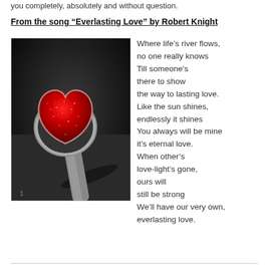you completely, absolutely and without question.
From the song “Everlasting Love” by Robert Knight
[Figure (photo): A red glittery heart held on a spoon handle, photographed in black and white background contrast, dramatic dark moody lighting, heart is bright red.]
Where life’s river flows, no one really knows Till someone’s there to show the way to lasting love. Like the sun shines, endlessly it shines You always will be mine it’s eternal love. When other’s love-light’s gone, ours will still be strong We’ll have our very own, everlasting love.